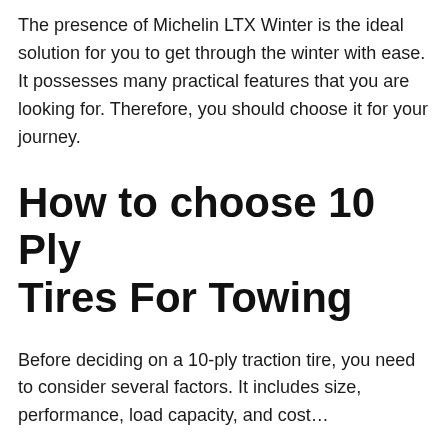The presence of Michelin LTX Winter is the ideal solution for you to get through the winter with ease. It possesses many practical features that you are looking for. Therefore, you should choose it for your journey.
How to choose 10 Ply Tires For Towing
Before deciding on a 10-ply traction tire, you need to consider several factors. It includes size, performance, load capacity, and cost…